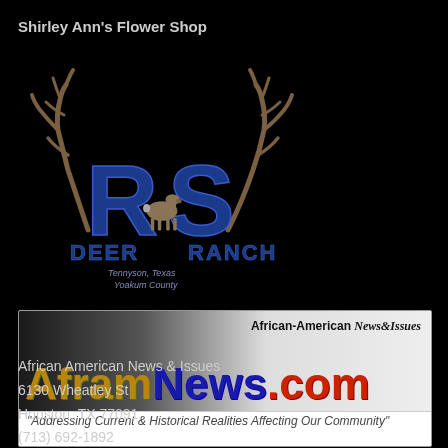Shirley Ann's Flower Shop
[Figure (logo): RS Deer Ranch logo with antlers and deer silhouette. Large blue 'RS' letters with deer antlers graphic, text 'DEER RANCH' below, subtitle 'Tennyson, Texas / Yoakum County']
[Figure (logo): AframNews.com banner logo. African-American News&Issues website banner with colorful stylized text 'AframNews.com' and tagline 'Addressing Current & Historical Realities Affecting Our Community']
African American News & Issues
6130 Wheatley St
Houston, TX 77091
(713) 692-1892